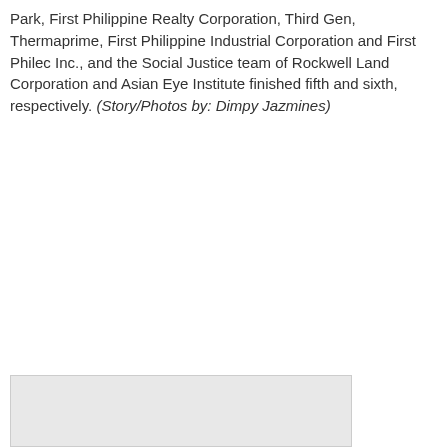Park, First Philippine Realty Corporation, Third Gen, Thermaprime, First Philippine Industrial Corporation and First Philec Inc., and the Social Justice team of Rockwell Land Corporation and Asian Eye Institute finished fifth and sixth, respectively. (Story/Photos by: Dimpy Jazmines)
[Figure (photo): A photograph (partially visible, light gray placeholder) at the bottom of the page.]